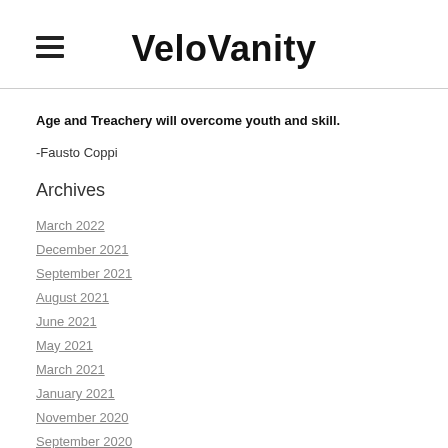VeloVanity
Age and Treachery will overcome youth and skill.
-Fausto Coppi
Archives
March 2022
December 2021
September 2021
August 2021
June 2021
May 2021
March 2021
January 2021
November 2020
September 2020
July 2020